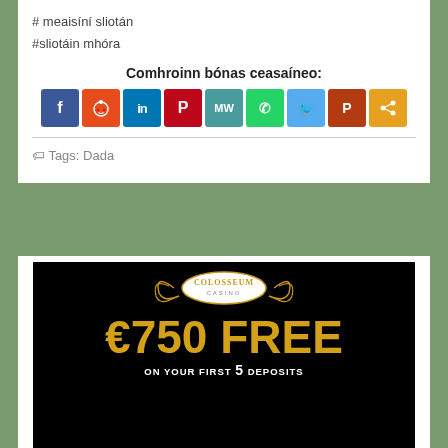# meaisíní sliotán
#sliotáin mhóra
Comhroinn bónas ceasaíneo:
[Figure (infographic): Social share buttons row: Facebook, Reddit, LinkedIn, Pinterest, MeWe, WhatsApp, Twitter, Parler, Share]
Tags: Dada
[Figure (photo): Colosseum Casino advertisement banner on black background. Shows Colosseum Casino logo with laurel wreath, text '€750 FREE ON YOUR FIRST 5 DEPOSITS' in gold and white letters.]